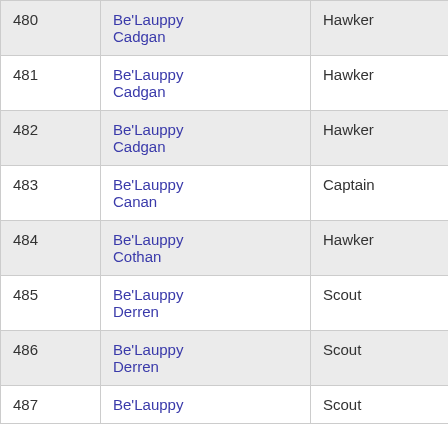| 480 | Be'Lauppy Cadgan | Hawker |
| 481 | Be'Lauppy Cadgan | Hawker |
| 482 | Be'Lauppy Cadgan | Hawker |
| 483 | Be'Lauppy Canan | Captain |
| 484 | Be'Lauppy Cothan | Hawker |
| 485 | Be'Lauppy Derren | Scout |
| 486 | Be'Lauppy Derren | Scout |
| 487 | Be'Lauppy | Scout |